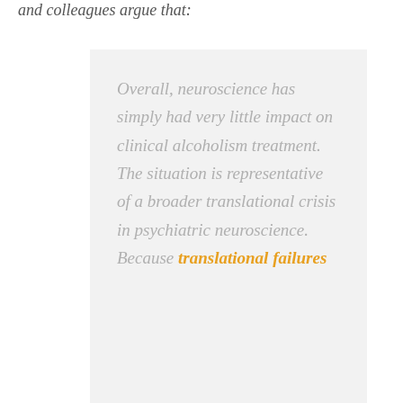and colleagues argue that:
Overall, neuroscience has simply had very little impact on clinical alcoholism treatment. The situation is representative of a broader translational crisis in psychiatric neuroscience. Because translational failures continue to accumulate…